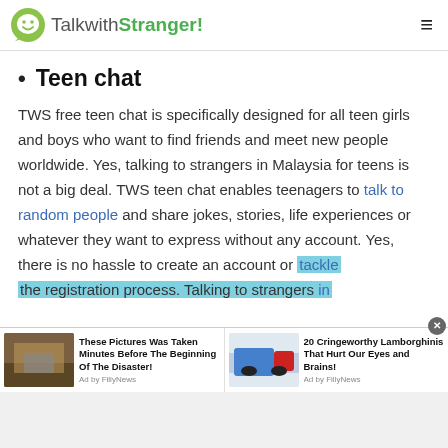TalkwithStranger!
Teen chat
TWS free teen chat is specifically designed for all teen girls and boys who want to find friends and meet new people worldwide. Yes, talking to strangers in Malaysia for teens is not a big deal. TWS teen chat enables teenagers to talk to random people and share jokes, stories, life experiences or whatever they want to express without any account. Yes, there is no hassle to create an account or tackle the registration process. Talking to strangers in
[Figure (screenshot): Advertisement bar with two sponsored articles: 'These Pictures Was Taken Minutes Before The Beginning Of The Disaster!' and '20 Cringeworthy Lamborghinis That Hurt Our Eyes and Brains!']